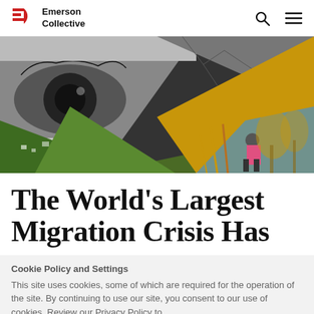Emerson Collective
[Figure (photo): Collage of four triangular images: close-up of a person's eye in black and white, aerial view of a green tropical town, cracked dry earth, and a woman in a pink top standing among dried corn stalks with golden hazy trees in background]
The World's Largest Migration Crisis Has
Cookie Policy and Settings
This site uses cookies, some of which are required for the operation of the site. By continuing to use our site, you consent to our use of cookies. Review our Privacy Policy to